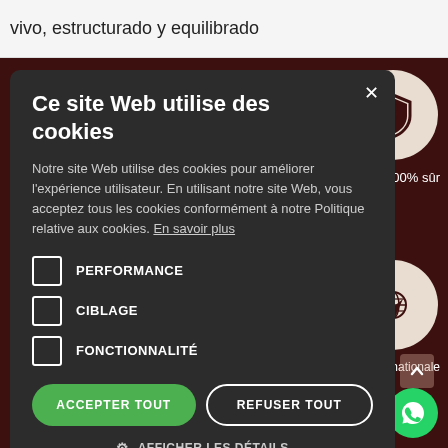vivo, estructurado y equilibrado
[Figure (screenshot): Cookie consent modal overlay on a dark wine/brown website background. The modal shows title 'Ce site Web utilise des cookies', body text about cookie policy, three unchecked checkboxes for PERFORMANCE, CIBLAGE, FONCTIONNALITÉ, two buttons ACCEPTER TOUT (green) and REFUSER TOUT (outlined), and AFFICHER LES DÉTAILS link. Background shows circular icons and partial text 'er 100% sûr' and 'n internationale' and 'RECEVOIR ET DEALS COUPONS'.]
Ce site Web utilise des cookies
Notre site Web utilise des cookies pour améliorer l'expérience utilisateur. En utilisant notre site Web, vous acceptez tous les cookies conformément à notre Politique relative aux cookies. En savoir plus
PERFORMANCE
CIBLAGE
FONCTIONNALITÉ
ACCEPTER TOUT
REFUSER TOUT
AFFICHER LES DETAILS
RECEVOIR ET DEALS COUPONS